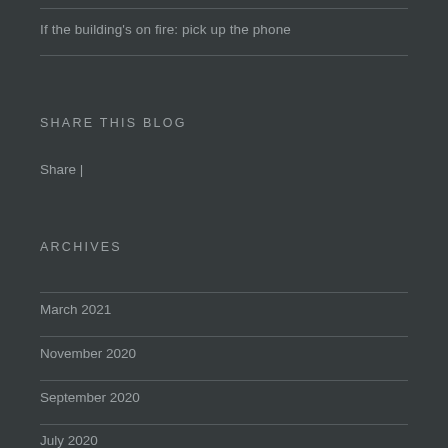If the building's on fire: pick up the phone
SHARE THIS BLOG
Share |
ARCHIVES
March 2021
November 2020
September 2020
July 2020